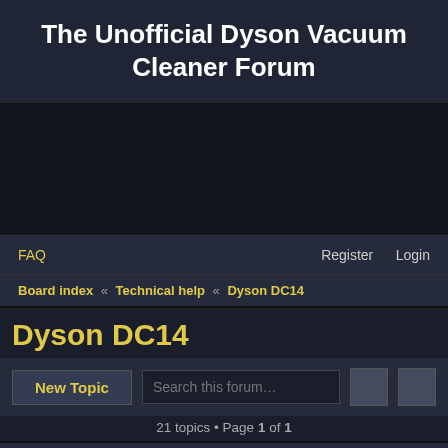The Unofficial Dyson Vacuum Cleaner Forum
[Figure (other): Advertisement/banner area (dark background)]
FAQ   Register  Login
Board index « Technical help « Dyson DC14
Dyson DC14
New Topic   Search this forum…   21 topics • Page 1 of 1
Topics
DC14 - what's this part?
Last post by puzzled « Fri May 31, 2019 8:46 pm
Replies: 6